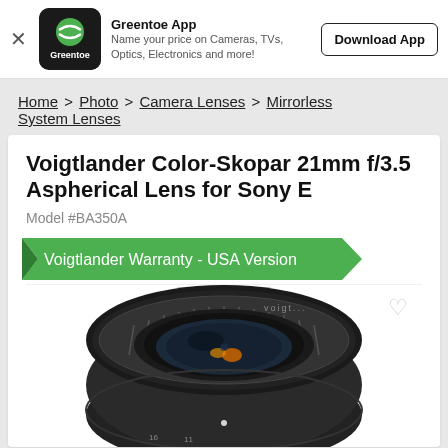[Figure (logo): Greentoe app banner with logo, app name, description and Download App button]
Home > Photo > Camera Lenses > Mirrorless System Lenses
Voigtlander Color-Skopar 21mm f/3.5 Aspherical Lens for Sony E
Model #BA350A
Voigtlander Warranty - USA Version
[Figure (photo): Photo of Voigtlander Color-Skopar 21mm f/3.5 lens, black, front view showing the lens elements]